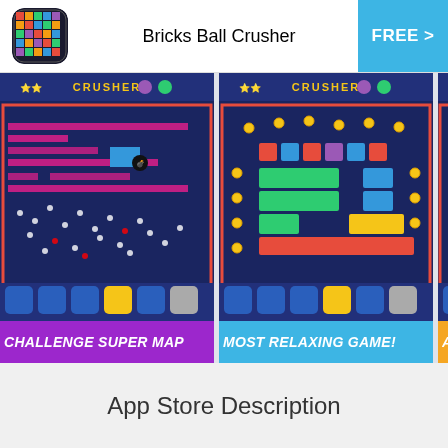[Figure (screenshot): App store listing header with app icon (Bricks Ball Crusher colorful logo), app title 'Bricks Ball Crusher', and a blue 'FREE >' button on the right]
Bricks Ball Crusher
[Figure (screenshot): Screenshot 1 of Bricks Ball Crusher game showing colorful bricks layout with purple label 'CHALLENGE SUPER MAP']
CHALLENGE SUPER MAP
[Figure (screenshot): Screenshot 2 of Bricks Ball Crusher game showing colorful bricks with cyan label 'MOST RELAXING GAME!']
MOST RELAXING GAME!
[Figure (screenshot): Screenshot 3 of Bricks Ball Crusher game partially visible with orange label 'AIM TO...']
AIM TO
App Store Description